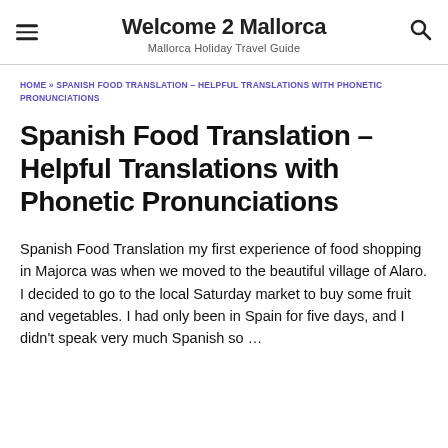Welcome 2 Mallorca
Mallorca Holiday Travel Guide
HOME » SPANISH FOOD TRANSLATION – HELPFUL TRANSLATIONS WITH PHONETIC PRONUNCIATIONS
Spanish Food Translation – Helpful Translations with Phonetic Pronunciations
Spanish Food Translation my first experience of food shopping in Majorca was when we moved to the beautiful village of Alaro. I decided to go to the local Saturday market to buy some fruit and vegetables. I had only been in Spain for five days, and I didn't speak very much Spanish so …